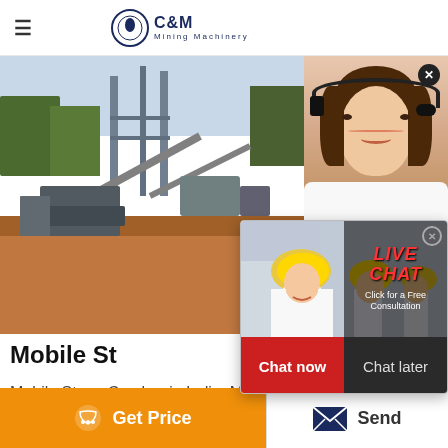[Figure (screenshot): C&M Mining Machinery website header with hamburger menu and logo]
[Figure (photo): Mining/industrial site hero image showing construction equipment on dirt ground]
[Figure (photo): Customer service agent (woman with headset) in right sidebar panel]
[Figure (screenshot): Live Chat popup overlay with workers in hard hats, LIVE CHAT title, Chat now and Chat later buttons]
Mobile St...
Mobile Stone Crusher in India. Mobile Jaw... Plant The mobile or portable jaw crushers
[Figure (screenshot): Get Price button (orange) with chat icon]
[Figure (screenshot): Send button with envelope icon]
ave any requests, ick here.
Quotation
Enquiry
drobilkalm@gmail.com
Chat